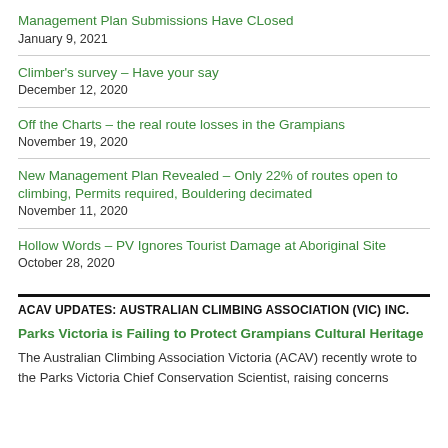Management Plan Submissions Have CLosed
January 9, 2021
Climber's survey – Have your say
December 12, 2020
Off the Charts – the real route losses in the Grampians
November 19, 2020
New Management Plan Revealed – Only 22% of routes open to climbing, Permits required, Bouldering decimated
November 11, 2020
Hollow Words – PV Ignores Tourist Damage at Aboriginal Site
October 28, 2020
ACAV UPDATES: AUSTRALIAN CLIMBING ASSOCIATION (VIC) INC.
Parks Victoria is Failing to Protect Grampians Cultural Heritage
The Australian Climbing Association Victoria (ACAV) recently wrote to the Parks Victoria Chief Conservation Scientist, raising concerns